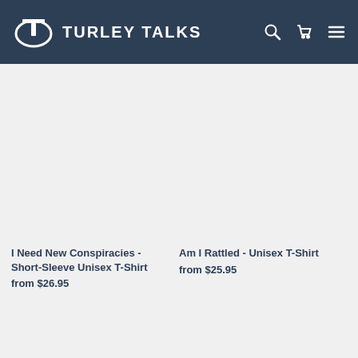TURLEY TALKS
[Figure (photo): Product image placeholder for I Need New Conspiracies T-Shirt (light gray rectangle)]
I Need New Conspiracies - Short-Sleeve Unisex T-Shirt
from $26.95
[Figure (photo): Product image placeholder for Am I Rattled Unisex T-Shirt (light gray rectangle)]
Am I Rattled - Unisex T-Shirt
from $25.95